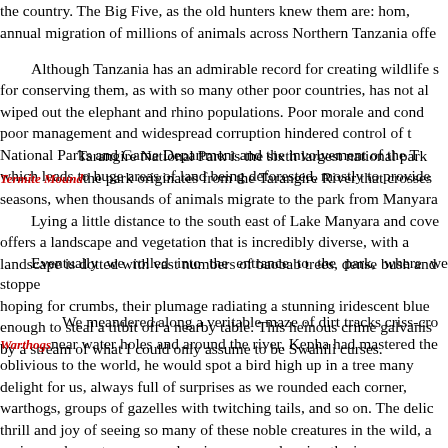the country. The Big Five, as the old hunters knew them are: hom, annual migration of millions of animals across Northern Tanzania offe
Although Tanzania has an admirable record for creating wildlife s for conserving them, as with so many other poor countries, has not al wiped out the elephant and rhino populations. Poor morale and cond poor management and widespread corruption hindered control of t National Parks and Game Department and the involvement of the T which leads to huge areas of land being deforested, mostly to provide
Tarangire National Park is the sixth largest national park
Termite Mound the park originates from the Tarangire River that crosses seasons, when thousands of animals migrate to the park from Manyara
Lying a little distance to the south east of Lake Manyara and cove offers a landscape and vegetation that is incredibly diverse, with a landscape is dotted with vast numbers of baobab trees, dense bush and
Eventually we rolled into the entrance to the park, where we stoppe hoping for crumbs, their plumage radiating a stunning iridescent blue enough to steal a titbit off a nearby table. This heinous crime galvanis by a stream of what I could only assume to be Swahili curses.
We meandered along a veritable maze of dirt tracks criss-cro
Warthogs near water holes and around the river. Kepha had mastered the oblivious to the world, he would spot a bird high up in a tree many delight for us, always full of surprises as we rounded each corner, warthogs, groups of gazelles with twitching tails, and so on. The delic thrill and joy of seeing so many of these noble creatures in the wild, a seeing such creatures cooped up in a zoo, and seeing the joy on my